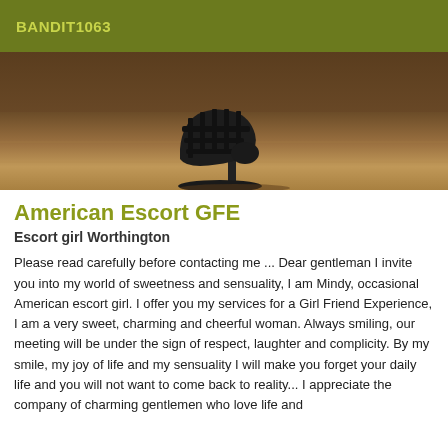BANDIT1063
[Figure (photo): Close-up photo of a woman's foot wearing a black strappy high-heel sandal on a wooden floor surface.]
American Escort GFE
Escort girl Worthington
Please read carefully before contacting me ... Dear gentleman I invite you into my world of sweetness and sensuality, I am Mindy, occasional American escort girl. I offer you my services for a Girl Friend Experience, I am a very sweet, charming and cheerful woman. Always smiling, our meeting will be under the sign of respect, laughter and complicity. By my smile, my joy of life and my sensuality I will make you forget your daily life and you will not want to come back to reality... I appreciate the company of charming gentlemen who love life and